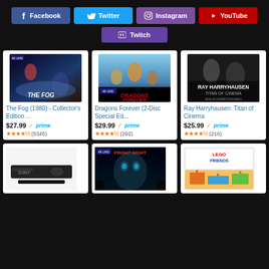[Figure (screenshot): Social media buttons: Facebook (navy), Twitter (teal), Instagram (purple), YouTube (red), Twitch (purple)]
[Figure (screenshot): Product card: The Fog (1980) - Collector's Edition, $27.99, prime, 4.5 stars (5345 reviews)]
[Figure (screenshot): Product card: Dragons Forever (2-Disc Special Ed...), $29.99, prime, 4.5 stars (292 reviews)]
[Figure (screenshot): Product card: Ray Harryhausen: Titan of Cinema, $25.99, prime, 4.5 stars (216 reviews)]
[Figure (screenshot): Partial product card: Sony DVD player]
[Figure (screenshot): Partial product card: Fright Night 4K]
[Figure (screenshot): Partial product card: LEGO Friends set]